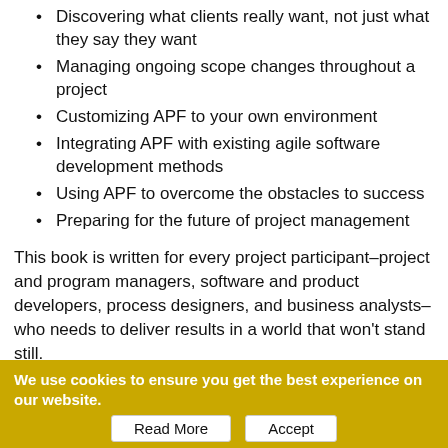Discovering what clients really want, not just what they say they want
Managing ongoing scope changes throughout a project
Customizing APF to your own environment
Integrating APF with existing agile software development methods
Using APF to overcome the obstacles to success
Preparing for the future of project management
This book is written for every project participant–project and program managers, software and product developers, process designers, and business analysts–who needs to deliver results in a world that won't stand still.
MEMBER REVIEWS:
Review By: Richard J. Foster
10/08/2010Author Dr. Robert K. Wysocki has been involved in project management for over forty years. His previous books include the
We use cookies to ensure you get the best experience on our website.